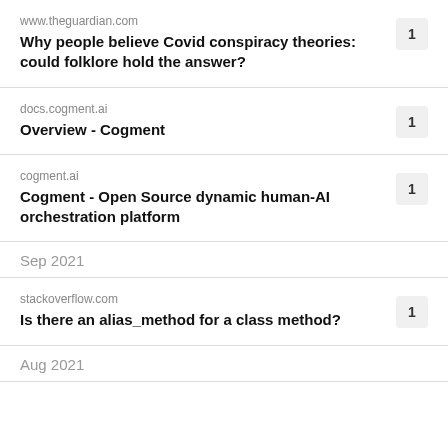www.theguardian.com
Why people believe Covid conspiracy theories: could folklore hold the answer?
docs.cogment.ai
Overview - Cogment
cogment.ai
Cogment - Open Source dynamic human-AI orchestration platform
Sep 2021
stackoverflow.com
Is there an alias_method for a class method?
Aug 2021